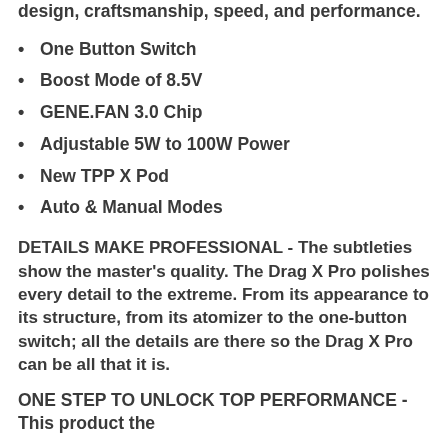design, craftsmanship, speed, and performance.
One Button Switch
Boost Mode of 8.5V
GENE.FAN 3.0 Chip
Adjustable 5W to 100W Power
New TPP X Pod
Auto & Manual Modes
DETAILS MAKE PROFESSIONAL - The subtleties show the master's quality. The Drag X Pro polishes every detail to the extreme. From its appearance to its structure, from its atomizer to the one-button switch; all the details are there so the Drag X Pro can be all that it is.
ONE STEP TO UNLOCK TOP PERFORMANCE - This product the